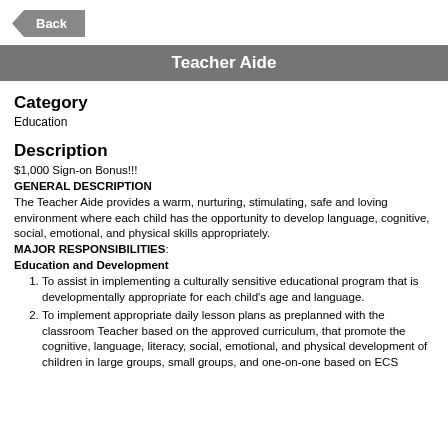Back
Teacher Aide
Category
Education
Description
$1,000 Sign-on Bonus!!!
GENERAL DESCRIPTION
The Teacher Aide provides a warm, nurturing, stimulating, safe and loving environment where each child has the opportunity to develop language, cognitive, social, emotional, and physical skills appropriately.
MAJOR RESPONSIBILITIES:
Education and Development
To assist in implementing a culturally sensitive educational program that is developmentally appropriate for each child's age and language.
To implement appropriate daily lesson plans as preplanned with the classroom Teacher based on the approved curriculum, that promote the cognitive, language, literacy, social, emotional, and physical development of children in large groups, small groups, and one-on-one based on ECS School Readiness Goals and the needs of children.